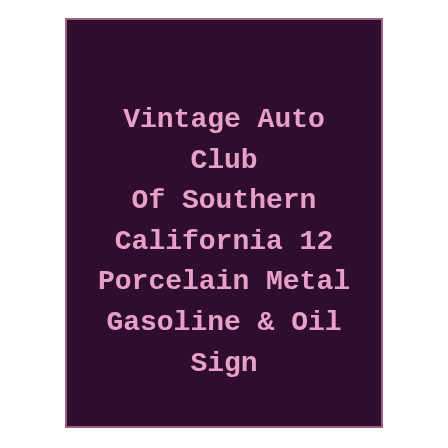Vintage Auto Club Of Southern California 12 Porcelain Metal Gasoline & Oil Sign